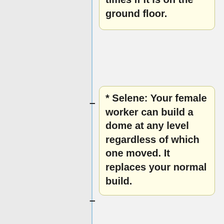times if it is on the ground floor.
* Selene: Your female worker can build a dome at any level regardless of which one moved. It replaces your normal build.
* Trition: Your worker can move again if it is on a perimeter space. Banned with Harpies.
* Zeus: Your